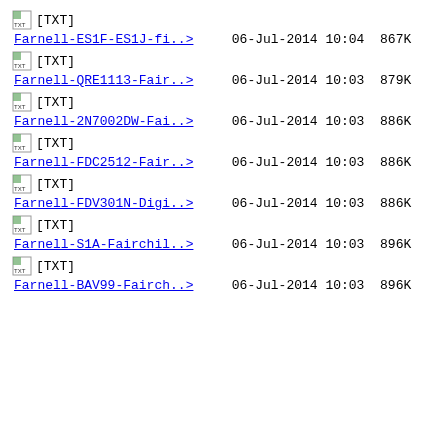[TXT] Farnell-ES1F-ES1J-fi..> 06-Jul-2014 10:04  867K
[TXT] Farnell-QRE1113-Fair..> 06-Jul-2014 10:03  879K
[TXT] Farnell-2N7002DW-Fai..> 06-Jul-2014 10:03  886K
[TXT] Farnell-FDC2512-Fair..> 06-Jul-2014 10:03  886K
[TXT] Farnell-FDV301N-Digi..> 06-Jul-2014 10:03  886K
[TXT] Farnell-S1A-Fairchil..> 06-Jul-2014 10:03  896K
[TXT] Farnell-BAV99-Fairch..> 06-Jul-2014 10:03  896K